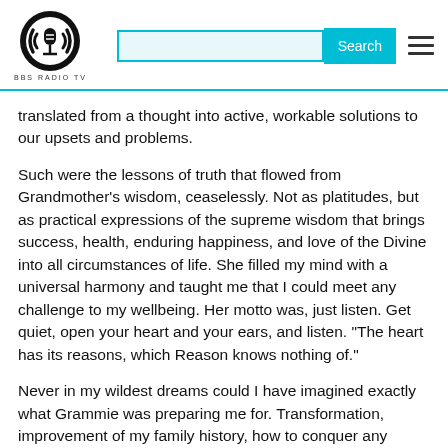[Figure (logo): BBS Radio TV logo: circular black and white emblem with a microphone/face design and sound waves, with text 'BBS RADIO TV' below]
translated from a thought into active, workable solutions to our upsets and problems.
Such were the lessons of truth that flowed from Grandmother's wisdom, ceaselessly. Not as platitudes, but as practical expressions of the supreme wisdom that brings success, health, enduring happiness, and love of the Divine into all circumstances of life. She filled my mind with a universal harmony and taught me that I could meet any challenge to my wellbeing. Her motto was, just listen. Get quiet, open your heart and your ears, and listen. "The heart has its reasons, which Reason knows nothing of."
Never in my wildest dreams could I have imagined exactly what Grammie was preparing me for. Transformation, improvement of my family history, how to conquer any struggle between a variety of forces, as well as to locate my past-life talents and put them to use in this lifetime. To teach others how to enhance the understanding of